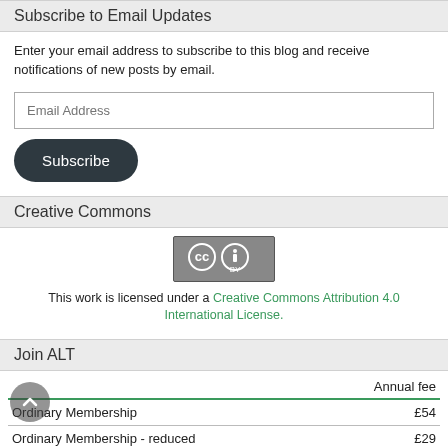Subscribe to Email Updates
Enter your email address to subscribe to this blog and receive notifications of new posts by email.
Email Address
Subscribe
Creative Commons
[Figure (logo): Creative Commons CC BY logo badge]
This work is licensed under a Creative Commons Attribution 4.0 International License.
Join ALT
|  | Annual fee |
| --- | --- |
| Ordinary Membership | £54 |
| Ordinary Membership - reduced | £29 |
| Certified Membership | £79 |
| Certified Membership - reduced | £49 |